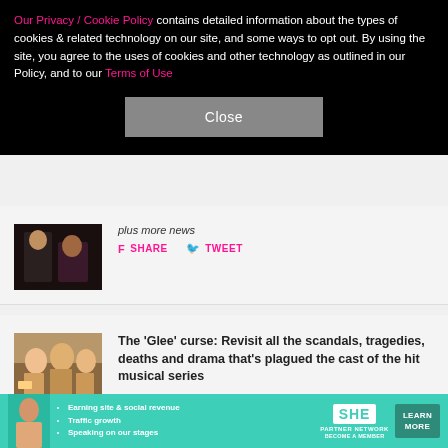Our Privacy / Cookie Policy contains detailed information about the types of cookies & related technology on our site, and some ways to opt out. By using the site, you agree to the uses of cookies and other technology as outlined in our Policy, and to our Terms of Use
Close
plus more news
SHARE  TWEET
[Figure (photo): Dark image of two people]
The 'Glee' curse: Revisit all the scandals, tragedies, deaths and drama that's plagued the cast of the hit musical series
SHARE  TWEET
[Figure (photo): Cast members from Glee seated at a table]
AROUND THE WEB
[Figure (infographic): SHE Partner Network advertisement banner with bullet points: Earning site & social revenue, Traffic growth, Speaking on our stages. BECOME A MEMBER. LEARN MORE.]